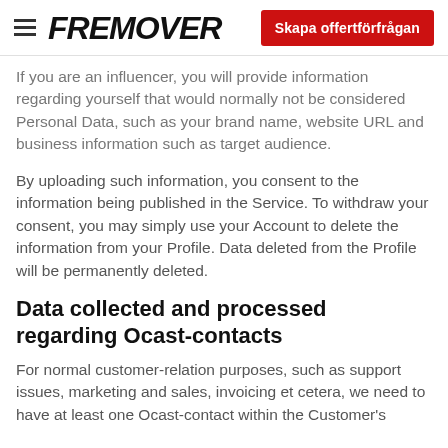FREMOVER | Skapa offertförfrågan
If you are an influencer, you will provide information regarding yourself that would normally not be considered Personal Data, such as your brand name, website URL and business information such as target audience.
By uploading such information, you consent to the information being published in the Service. To withdraw your consent, you may simply use your Account to delete the information from your Profile. Data deleted from the Profile will be permanently deleted.
Data collected and processed regarding Ocast-contacts
For normal customer-relation purposes, such as support issues, marketing and sales, invoicing et cetera, we need to have at least one Ocast-contact within the Customer's